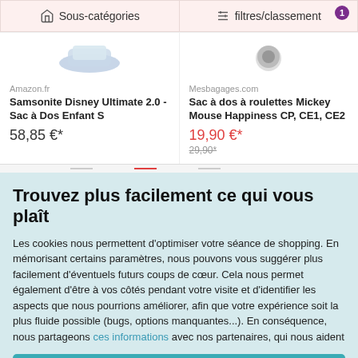Sous-catégories
filtres/classement
Amazon.fr
Samsonite Disney Ultimate 2.0 - Sac à Dos Enfant S
58,85 €*
Mesbagages.com
Sac à dos à roulettes Mickey Mouse Happiness CP, CE1, CE2
19,90 €*
29,90*
Trouvez plus facilement ce qui vous plaît
Les cookies nous permettent d'optimiser votre séance de shopping. En mémorisant certains paramètres, nous pouvons vous suggérer plus facilement d'éventuels futurs coups de cœur. Cela nous permet également d'être à vos côtés pendant votre visite et d'identifier les aspects que nous pourrions améliorer, afin que votre expérience soit la plus fluide possible (bugs, options manquantes...). En conséquence, nous partageons ces informations avec nos partenaires, qui nous aident
Accepter les cookies et fermer
Mes paramètres